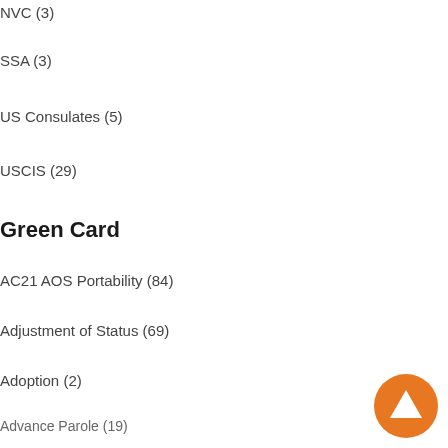NVC (3)
SSA (3)
US Consulates (5)
USCIS (29)
Green Card
AC21 AOS Portability (84)
Adjustment of Status (69)
Adoption (2)
Advance Parole (19)
Audits (5)
Birth Certificate (3)
Compelling Circumstances EAD (2)